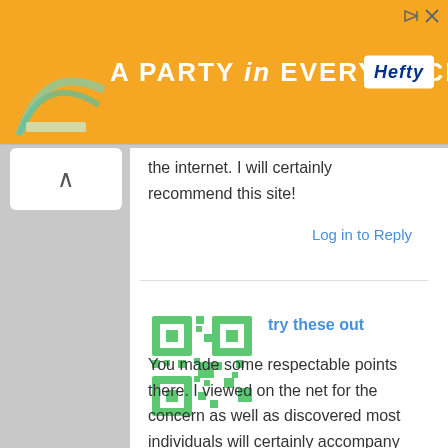[Figure (illustration): Orange Hefty advertisement banner reading 'A PARTY in EVERY PACK' with Hefty logo on white background]
the internet. I will certainly recommend this site!
Log in to Reply
[Figure (illustration): Green QR-code style avatar image for user 'try these out']
try these out
You made some respectable points there. I viewed on the net for the concern as well as discovered most individuals will certainly accompany with your site.